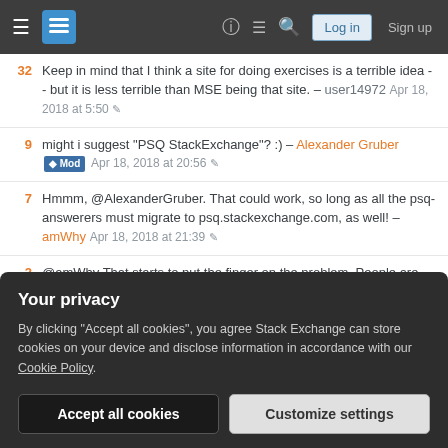Stack Exchange navigation bar with Log in and Sign up buttons
32 Keep in mind that I think a site for doing exercises is a terrible idea -- but it is less terrible than MSE being that site. – user14972 Apr 18, 2018 at 5:50
9 might i suggest "PSQ StackExchange"? :) – Alexander Gruber Mod Apr 18, 2018 at 20:56
7 Hmmm, @AlexanderGruber. That could work, so long as all the psq-answerers must migrate to psq.stackexchange.com, as well! – amWhy Apr 18, 2018 at 21:39
2 @amWhy That starts to put the finger on the problem. People are going to go to 1) where Google tells them, and 2) where they will get answers, and in both cases that's more likely going to be MSE. It's possible some sort of PSQ.SE
Your privacy
By clicking "Accept all cookies", you agree Stack Exchange can store cookies on your device and disclose information in accordance with our Cookie Policy.
Accept all cookies  Customize settings